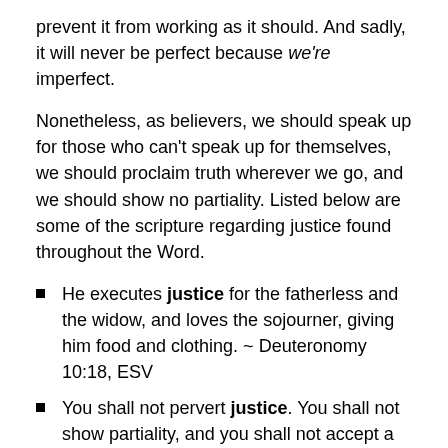prevent it from working as it should. And sadly, it will never be perfect because we're imperfect.
Nonetheless, as believers, we should speak up for those who can't speak up for themselves, we should proclaim truth wherever we go, and we should show no partiality. Listed below are some of the scripture regarding justice found throughout the Word.
He executes justice for the fatherless and the widow, and loves the sojourner, giving him food and clothing. ~ Deuteronomy 10:18, ESV
You shall not pervert justice. You shall not show partiality, and you shall not accept a bribe, for a bribe blinds the eyes of the wise and subverts the cause of the righteous. ~ Deuteronomy 16:19, ESV
“The Rock, His work is perfect, for all His ways are